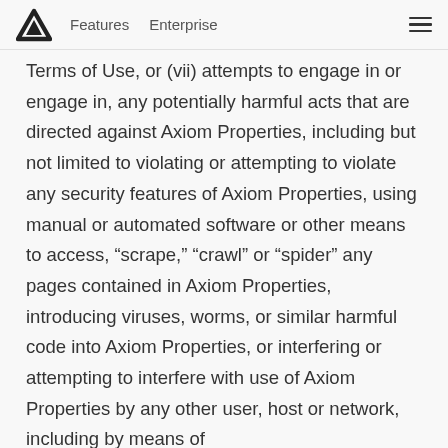Features   Enterprise
Terms of Use, or (vii) attempts to engage in or engage in, any potentially harmful acts that are directed against Axiom Properties, including but not limited to violating or attempting to violate any security features of Axiom Properties, using manual or automated software or other means to access, “scrape,” “crawl” or “spider” any pages contained in Axiom Properties, introducing viruses, worms, or similar harmful code into Axiom Properties, or interfering or attempting to interfere with use of Axiom Properties by any other user, host or network, including by means of